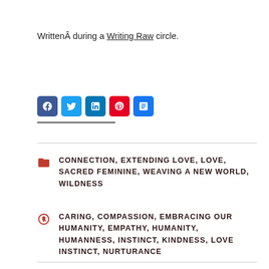WrittenÂ during a Writing Raw circle.
[Figure (infographic): Social sharing icons: Facebook (blue), Twitter (blue), LinkedIn (blue), Pinterest (red), Share (blue)]
CONNECTION, EXTENDING LOVE, LOVE, SACRED FEMININE, WEAVING A NEW WORLD, WILDNESS
CARING, COMPASSION, EMBRACING OUR HUMANITY, EMPATHY, HUMANITY, HUMANNESS, INSTINCT, KINDNESS, LOVE INSTINCT, NURTURANCE